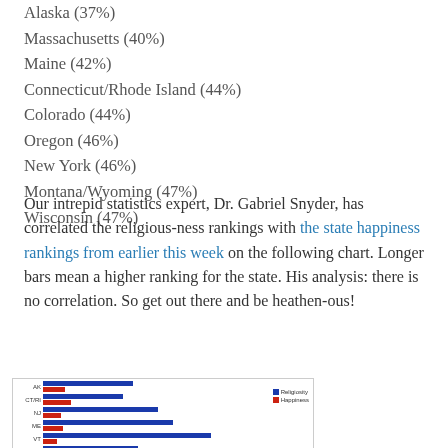Alaska (37%)
Massachusetts (40%)
Maine (42%)
Connecticut/Rhode Island (44%)
Colorado (44%)
Oregon (46%)
New York (46%)
Montana/Wyoming (47%)
Wisconsin (47%)
Our intrepid statistics expert, Dr. Gabriel Snyder, has correlated the religious-ness rankings with the state happiness rankings from earlier this week on the following chart. Longer bars mean a higher ranking for the state. His analysis: there is no correlation. So get out there and be heathen-ous!
[Figure (bar-chart): Horizontal bar chart showing religiosity (blue) and happiness (red) rankings for several states including AK, CT/RI, NJ, ME, VT, and others. Legend shows blue for Religiosity and red for Happiness.]